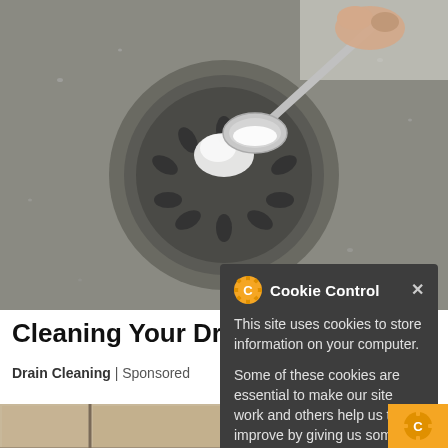[Figure (photo): Close-up photo of a hand holding a metal spoon pouring white powder (baking soda) into a stainless steel sink drain strainer, with water droplets visible on the sink surface.]
Cleaning Your Drain … Ever.
Drain Cleaning | Sponsored
[Figure (photo): Ceramic floor tiles with grout lines, showing tan/beige colored tiles with some staining or discoloration.]
Cookie Control
This site uses cookies to store information on your computer.
Some of these cookies are essential to make our site work and others help us to improve by giving us some insight into how the site is being used.
[Figure (logo): reCAPTCHA logo badge in the bottom right corner.]